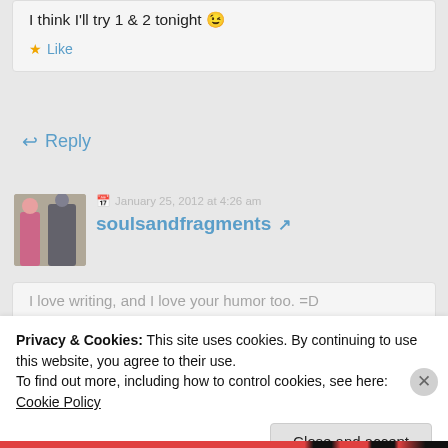I think I'll try 1 & 2 tonight 😉
★ Like
↩ Reply
January 25, 2012 at 4:26 am
soulsandfragments ↗
I love writing, and I love your humor too. =D
Privacy & Cookies: This site uses cookies. By continuing to use this website, you agree to their use.
To find out more, including how to control cookies, see here: Cookie Policy